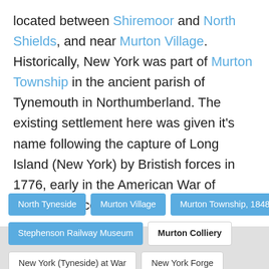located between Shiremoor and North Shields, and near Murton Village. Historically, New York was part of Murton Township in the ancient parish of Tynemouth in Northumberland. The existing settlement here was given it's name following the capture of Long Island (New York) by Bristish forces in 1776, early in the American War of Independence.
North Tyneside
Murton Village
Murton Township, 1848
Stephenson Railway Museum
Murton Colliery
New York (Tyneside) at War
New York Forge
New York Primary School
New York War Memorial
Rake Lane Drift Mine